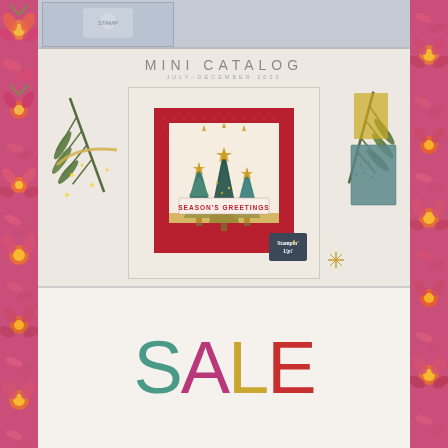[Figure (photo): Partial view of a product photo with blue-gray background, top portion only visible]
[Figure (photo): Stampin' Up! Mini Catalog July-December 2022 cover showing a holiday card with Christmas trees, 'Seasons Greetings' text, pine branches, and Stampin' Up! logo on cream background]
MINI CATALOG
JULY-DECEMBER 2022
SALE